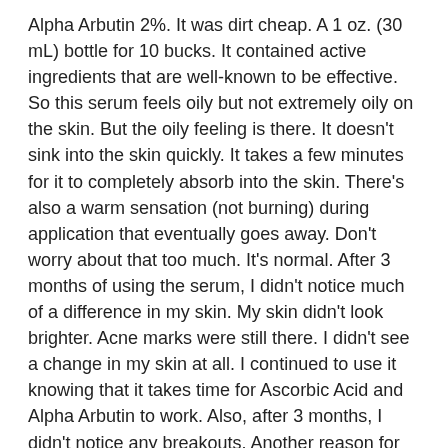Alpha Arbutin 2%. It was dirt cheap. A 1 oz. (30 mL) bottle for 10 bucks. It contained active ingredients that are well-known to be effective. So this serum feels oily but not extremely oily on the skin. But the oily feeling is there. It doesn't sink into the skin quickly. It takes a few minutes for it to completely absorb into the skin. There's also a warm sensation (not burning) during application that eventually goes away. Don't worry about that too much. It's normal. After 3 months of using the serum, I didn't notice much of a difference in my skin. My skin didn't look brighter. Acne marks were still there. I didn't see a change in my skin at all. I continued to use it knowing that it takes time for Ascorbic Acid and Alpha Arbutin to work. Also, after 3 months, I didn't notice any breakouts. Another reason for me to continue with the product plus the serum was very cheap.
I was able to finish the first bottle of The Ordinary